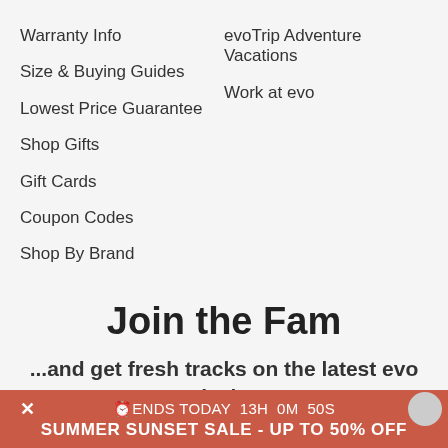Warranty Info
Size & Buying Guides
Lowest Price Guarantee
Shop Gifts
Gift Cards
Coupon Codes
Shop By Brand
evoTrip Adventure Vacations
Work at evo
Join the Fam
...and get fresh tracks on the latest evo deals, tips and news!
ENDS TODAY 13H 0M 50S SUMMER SUNSET SALE - UP TO 50% OFF